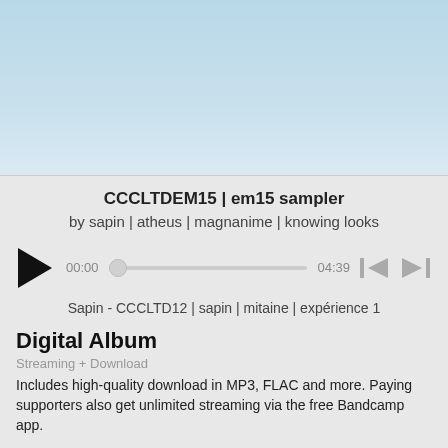[Figure (illustration): Light blue gradient album art background filling top portion of page]
CCCLTDEM15 | em15 sampler
by sapin | atheus | magnanime | knowing looks
[Figure (other): Audio player with play button, scrubber showing 00:00 to 04:39, skip-back and skip-forward controls]
Sapin - CCCLTD12 | sapin | mitaine | expérience 1
Digital Album
Streaming + Download
Includes high-quality download in MP3, FLAC and more. Paying supporters also get unlimited streaming via the free Bandcamp app.
EM15 SAMPLER
Free tracks by Sapin, Atheus, Magnanime, Knowing Looks.
www.em15.ca
www.cccltd.ca
Buy Digital Album  name your price